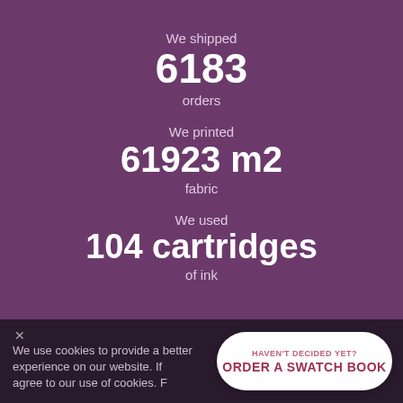We shipped
6183
orders
We printed
61923 m2
fabric
We used
104 cartridges
of ink
We use cookies to provide a better experience on our website. If you agree to our use of cookies. F...
HAVEN'T DECIDED YET? ORDER A SWATCH BOOK